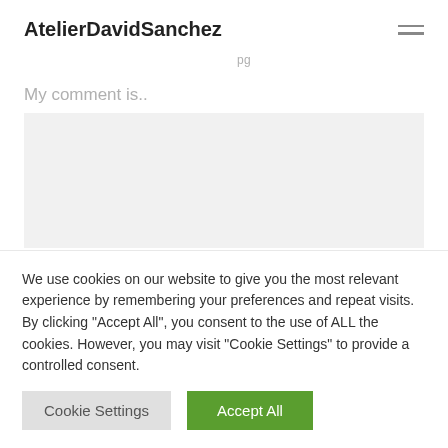AtelierDavidSanchez
pg
My comment is..
[Figure (other): Comment text area input box with light gray background]
We use cookies on our website to give you the most relevant experience by remembering your preferences and repeat visits. By clicking "Accept All", you consent to the use of ALL the cookies. However, you may visit "Cookie Settings" to provide a controlled consent.
Cookie Settings | Accept All